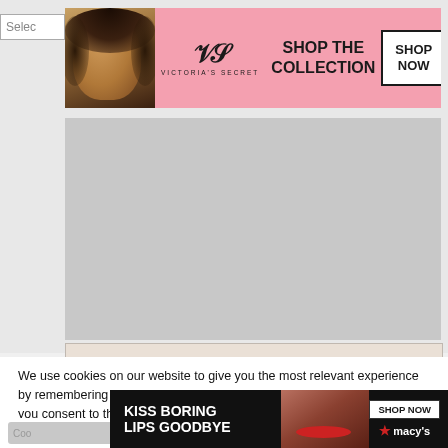[Figure (illustration): Victoria's Secret advertisement banner with model, VS logo, 'SHOP THE COLLECTION' text and 'SHOP NOW' button on pink background]
[Figure (illustration): Gray content placeholder area]
[Figure (illustration): MAC Cosmetics advertisement with colorful lipsticks, MAC logo, 'SHOP NOW' button]
We use cookies on our website to give you the most relevant experience by remembering your preferences and repeat visits. By clicking “Accept”, you consent to the use of ALL the cookies.
Do not sell my personal information.
[Figure (illustration): Macy's advertisement: 'KISS BORING LIPS GOODBYE' with model, SHOP NOW button and Macy's star logo on dark background]
CLOSE